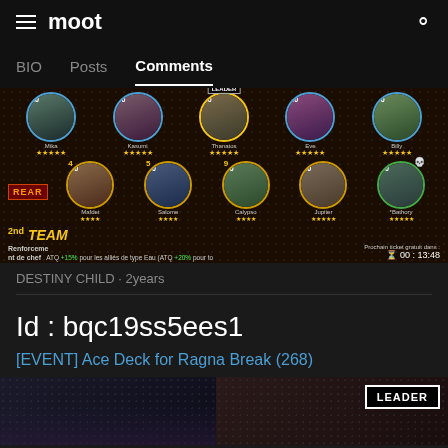moot
BIO   Posts   Comments
[Figure (screenshot): Game screenshot from Destiny Child showing 2nd Team party setup with REAR and LEADER labels, characters at level 60, PARTY INFO bar, BATTLE START button, ATQ buff text, and a countdown timer showing 00:13:48]
DESTINY CHILD · 2years
Id : bqc19ss5ees1
[EVENT] Ace Deck for Ragna Break (268)
[Figure (screenshot): Partial game screenshot showing bottom of a Destiny Child party screen with a LEADER badge visible in the top right of the image]